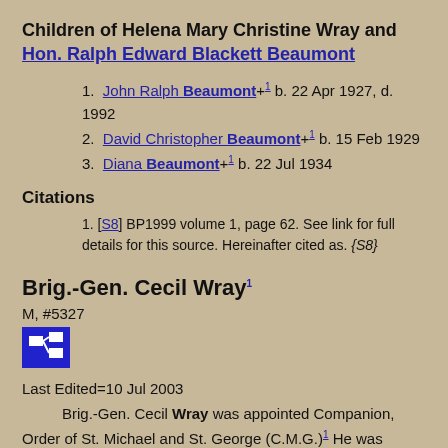Children of Helena Mary Christine Wray and Hon. Ralph Edward Blackett Beaumont
John Ralph Beaumont+1 b. 22 Apr 1927, d. 1992
David Christopher Beaumont+1 b. 15 Feb 1929
Diana Beaumont+1 b. 22 Jul 1934
Citations
[S8] BP1999 volume 1, page 62. See link for full details for this source. Hereinafter cited as. {S8}
Brig.-Gen. Cecil Wray1
M, #5327
Last Edited=10 Jul 2003
Brig.-Gen. Cecil Wray was appointed Companion, Order of St. Michael and St. George (C.M.G.)1 He was appointed Commander, Royal Victorian Order (C.V.O.)1 He was